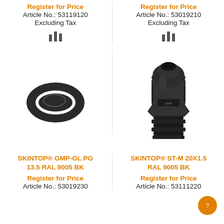Register for Price
Article No.: 53119120
Excluding Tax
Register for Price
Article No.: 53019210
Excluding Tax
[Figure (photo): Black oval rubber gasket/seal ring for cable gland PG 13.5]
[Figure (photo): Black plastic cable gland SKINTOP ST-M 20x1.5 RAL 9005 BK with threaded body and hexagonal base]
SKINTOP® GMP-GL PG 13.5 RAL 9005 BK
SKINTOP® ST-M 20X1.5 RAL 9005 BK
Register for Price
Article No.: 53019230
Register for Price
Article No.: 53111220